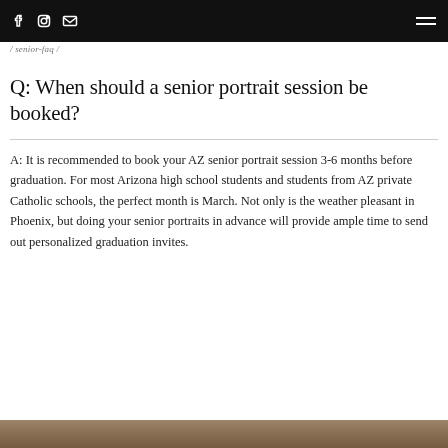/ senior-faq /
Q: When should a senior portrait session be booked?
A: It is recommended to book your AZ senior portrait session 3-6 months before graduation. For most Arizona high school students and students from AZ private Catholic schools, the perfect month is March. Not only is the weather pleasant in Phoenix, but doing your senior portraits in advance will provide ample time to send out personalized graduation invites.